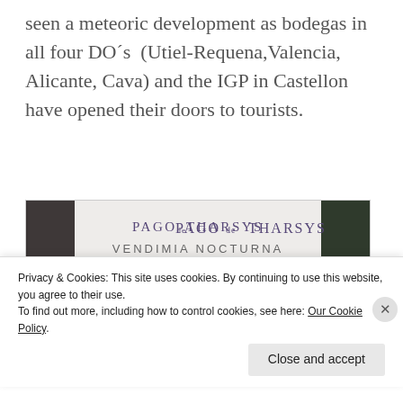seen a meteoric development as bodegas in all four DO´s  (Utiel-Requena,Valencia, Alicante, Cava) and the IGP in Castellon have opened their doors to tourists.
[Figure (photo): Wine label for 'Pago de Tharsys Vendimia Nocturna vino ecológico' showing two moon-themed figures with floral elements on a light background, flanked by dark panels]
Privacy & Cookies: This site uses cookies. By continuing to use this website, you agree to their use.
To find out more, including how to control cookies, see here: Our Cookie Policy.